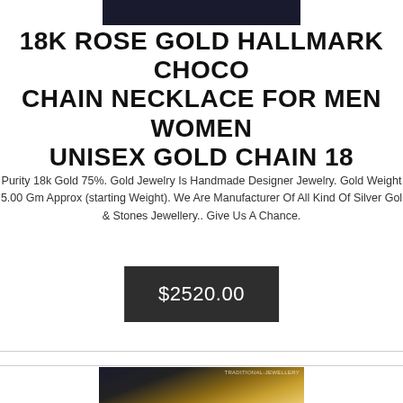[Figure (photo): Top portion of product photo showing jewelry item against dark background]
18K ROSE GOLD HALLMARK CHOCO CHAIN NECKLACE FOR MEN WOMEN UNISEX GOLD CHAIN 18
Purity 18k Gold 75%. Gold Jewelry Is Handmade Designer Jewelry. Gold Weight 5.00 Gm Approx (starting Weight). We Are Manufacturer Of All Kind Of Silver Gol & Stones Jewellery.. Give Us A Chance.
$2520.00
[Figure (photo): Close-up photo of rose gold chain necklace with TRADITIONAL-JEWELLERY watermark against dark background]